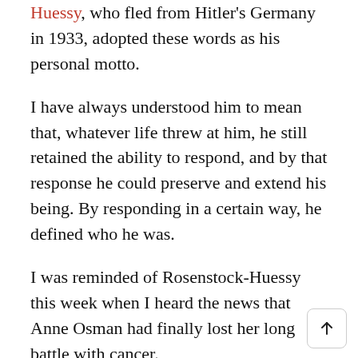Huessy, who fled from Hitler's Germany in 1933, adopted these words as his personal motto.
I have always understood him to mean that, whatever life threw at him, he still retained the ability to respond, and by that response he could preserve and extend his being. By responding in a certain way, he defined who he was.
I was reminded of Rosenstock-Huessy this week when I heard the news that Anne Osman had finally lost her long battle with cancer.
I was lucky to work with Anne at the Casablanca American School from 1986-1989. She was a warm and kind friend, a highly competent and